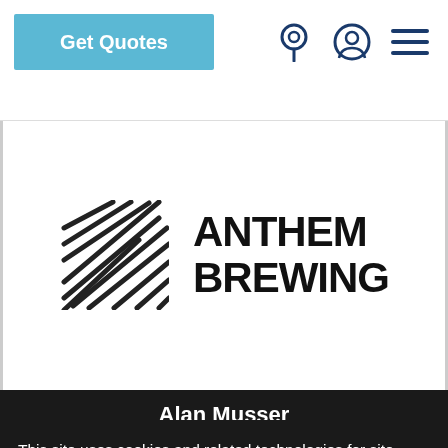[Figure (screenshot): Website navigation bar with 'Get Quotes' button in light blue, 'FREIGHTQUOTE' and 'by C.H. ROBINSON' text on left, and location pin, user profile, and hamburger menu icons on right]
[Figure (logo): Anthem Brewing logo with diagonal parallel lines graphic element and bold 'ANTHEM BREWING' text]
Alan Musser
Owner/CEO
This site uses cookies and related technologies for site operation, analytics, and third party advertising purposes as described in our Global Data Privacy Notice. You may choose to consent to our use of these technologies, reject non-essential technologies, or further manage your preferences.
ve competitive pricing and great service. Freightquote allows us to choose which carrier handles our product with confidence, be able to choose from a competitive p
Manage Settings
Accept